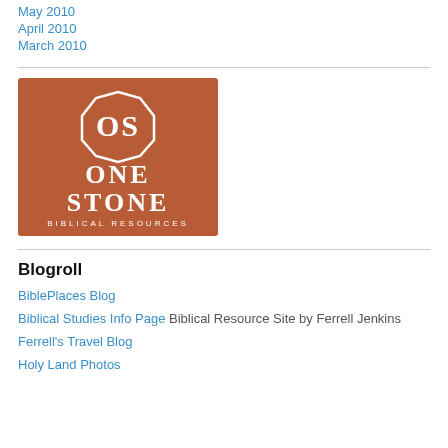May 2010
April 2010
March 2010
[Figure (logo): One Stone Biblical Resources logo — terracotta/rust colored square background with a white octagonal badge containing interlocked OS letters, with text 'ONE STONE' in large serif capitals and 'BIBLICAL RESOURCES' below in small caps]
Blogroll
BiblePlaces Blog
Biblical Studies Info Page Biblical Resource Site by Ferrell Jenkins
Ferrell's Travel Blog
Holy Land Photos